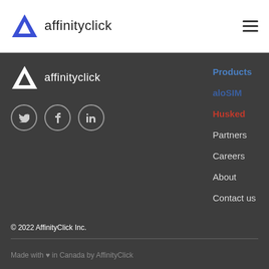affinityclick
[Figure (logo): AffinityClick logo with triangle icon and text 'affinityclick', plus hamburger menu icon on the right]
[Figure (logo): AffinityClick footer logo with white triangle icon and text 'affinityclick']
[Figure (infographic): Three social media icon circles: Twitter (bird), Facebook (f), LinkedIn (in)]
Products
aloSIM
Husked
Partners
Careers
About
Contact us
© 2022 AffinityClick Inc.
Made with ♥ in Canada by AffinityClick